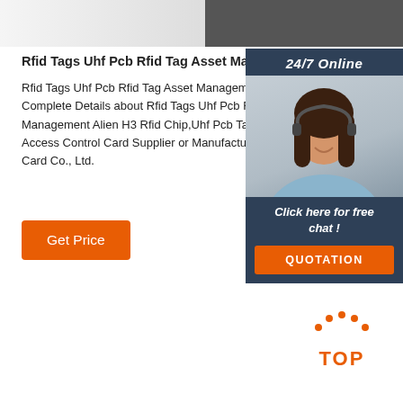[Figure (photo): Top portion showing a dark product image on the right side over a light grey background]
Rfid Tags Uhf Pcb Rfid Tag Asset Management Alien H3
Rfid Tags Uhf Pcb Rfid Tag Asset Management Alien H3. Find Complete Details about Rfid Tags Uhf Pcb Rfid Tag Asset Management Alien H3 Rfid Chip,Uhf Pcb Tag,Pcb Tag,Pcb from Access Control Card Supplier or Manufacturer-Xinye Intelligence Card Co., Ltd.
[Figure (infographic): 24/7 Online chat widget with agent photo and QUOTATION button]
Get Price
[Figure (other): Orange TOP button with dotted arc icon for scroll to top]